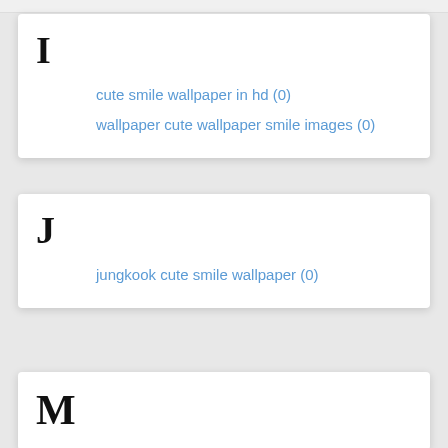I
cute smile wallpaper in hd (0)
wallpaper cute wallpaper smile images (0)
J
jungkook cute smile wallpaper (0)
M